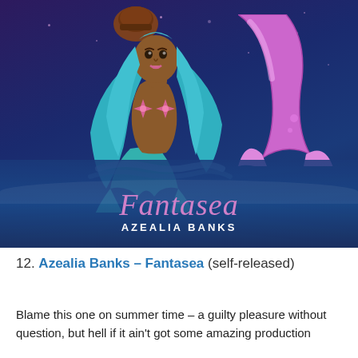[Figure (illustration): Album cover for Azealia Banks - Fantasea. Shows an animated/cartoon mermaid with dark skin and long teal/blue hair, wearing pink starfish over her chest. The background is a deep purple-blue night sky with stars and darker water below. A pink/purple mermaid tail is visible in the upper right. The word 'Fantasea' is written in pink cursive script and 'AZEALIA BANKS' in white capital letters below it.]
12. Azealia Banks – Fantasea (self-released)
Blame this one on summer time – a guilty pleasure without question, but hell if it ain't got some amazing production